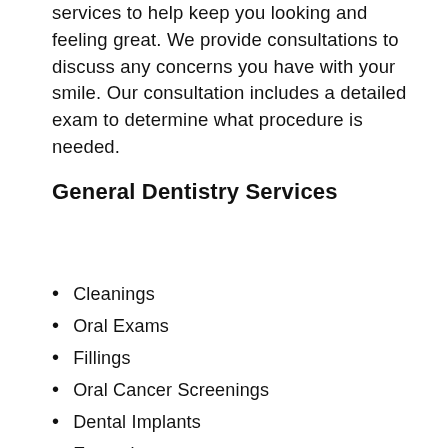services to help keep you looking and feeling great. We provide consultations to discuss any concerns you have with your smile. Our consultation includes a detailed exam to determine what procedure is needed.
General Dentistry Services
Cleanings
Oral Exams
Fillings
Oral Cancer Screenings
Dental Implants
Extractions
Root Canals